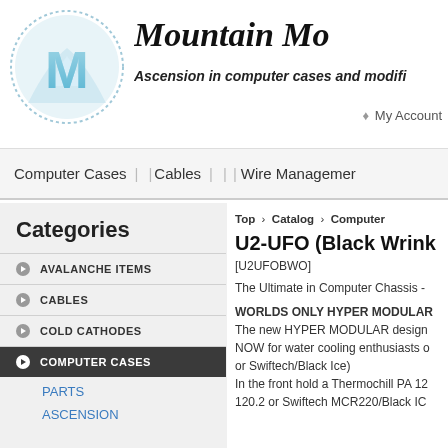[Figure (logo): Mountain Mods logo with circular M emblem and italic text 'Mountain Mo...' with tagline 'Ascension in computer cases and modifi...']
My Account
Computer Cases | | Cables | | | Wire Management
Categories
AVALANCHE ITEMS
CABLES
COLD CATHODES
COMPUTER CASES
PARTS
ASCENSION
Top > Catalog > Computer...
U2-UFO (Black Wrink...
[U2UFOBWO]
The Ultimate in Computer Chassis -
WORLDS ONLY HYPER MODULAR... The new HYPER MODULAR design... NOW for water cooling enthusiasts or Swiftech/Black Ice) In the front hold a Thermochill PA 12... 120.2 or Swiftech MCR220/Black IC